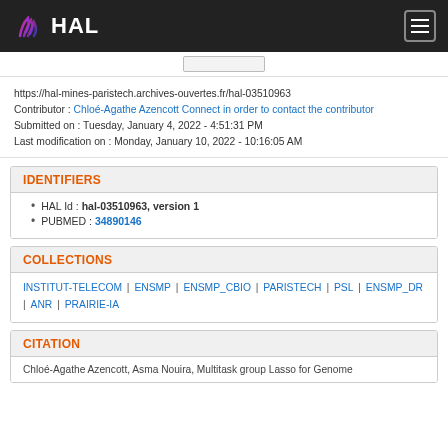HAL
https://hal-mines-paristech.archives-ouvertes.fr/hal-03510963
Contributor : Chloé-Agathe Azencott Connect in order to contact the contributor
Submitted on : Tuesday, January 4, 2022 - 4:51:31 PM
Last modification on : Monday, January 10, 2022 - 10:16:05 AM
IDENTIFIERS
HAL Id : hal-03510963, version 1
PUBMED : 34890146
COLLECTIONS
INSTITUT-TELECOM | ENSMP | ENSMP_CBIO | PARISTECH | PSL | ENSMP_DR | ANR | PRAIRIE-IA
CITATION
Chloé-Agathe Azencott, Asma Nouira, Multitask group Lasso for Genome...